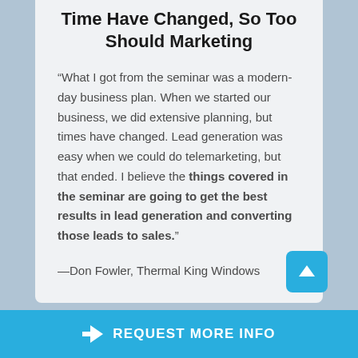Time Have Changed, So Too Should Marketing
“What I got from the seminar was a modern-day business plan. When we started our business, we did extensive planning, but times have changed. Lead generation was easy when we could do telemarketing, but that ended. I believe the things covered in the seminar are going to get the best results in lead generation and converting those leads to sales.”
—Don Fowler, Thermal King Windows
[Figure (other): Blue square button with white upward arrow icon (scroll to top)]
REQUEST MORE INFO